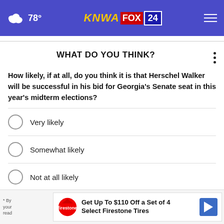78° KNWA FOX 24
WHAT DO YOU THINK?
How likely, if at all, do you think it is that Herschel Walker will be successful in his bid for Georgia's Senate seat in this year's midterm elections?
Very likely
Somewhat likely
Not at all likely
Other / No opinion
NEXT *
* By you read Get Up To $110 Off a Set of 4 Select Firestone Tires